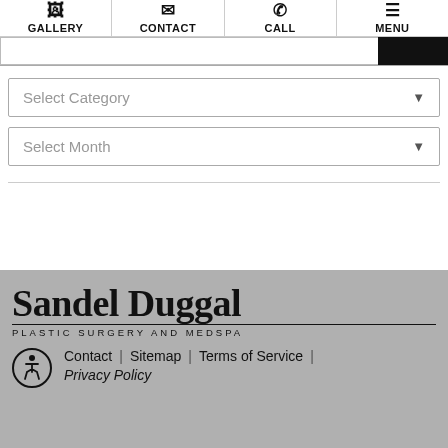GALLERY | CONTACT | CALL | MENU
[Figure (screenshot): Search input bar with black button on right]
Select Category
Select Month
[Figure (logo): Sandel Duggal Plastic Surgery and Medspa logo]
Contact | Sitemap | Terms of Service | Privacy Policy